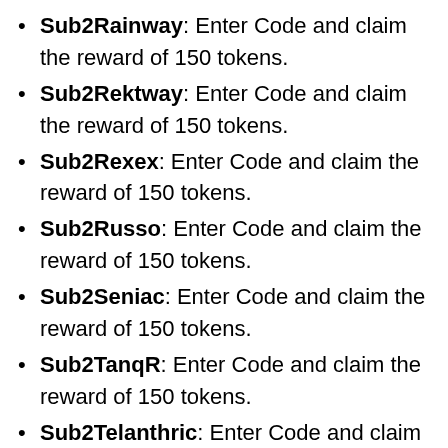Sub2Rainway: Enter Code and claim the reward of 150 tokens.
Sub2Rektway: Enter Code and claim the reward of 150 tokens.
Sub2Rexex: Enter Code and claim the reward of 150 tokens.
Sub2Russo: Enter Code and claim the reward of 150 tokens.
Sub2Seniac: Enter Code and claim the reward of 150 tokens.
Sub2TanqR: Enter Code and claim the reward of 150 tokens.
Sub2Telanthric: Enter Code and claim the reward of 150 tokens.
Sub2Tofuu: Enter Code and claim the reward